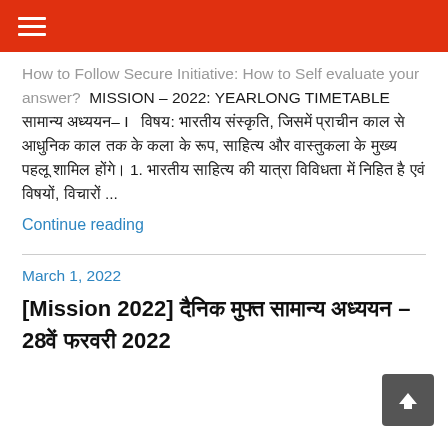≡ (hamburger menu)
How to Follow Secure Initiative: How to Self evaluate your answer?  MISSION – 2022: YEARLONG TIMETABLE   सामान्य अध्ययन– I   विषय: भारतीय संस्कृति, जिसमें प्राचीन काल से आधुनिक काल तक के कला के रूप, साहित्य और वास्तुकला के मुख्य पहलू शामिल होंगे। 1. भारतीय साहित्य की यात्रा विविधता में निहित है एवं विषयों, विचारों ...
Continue reading
March 1, 2022
[Mission 2022] दैनिक मुफ्त सामान्य अध्ययन – 28वें फरवरी 2022